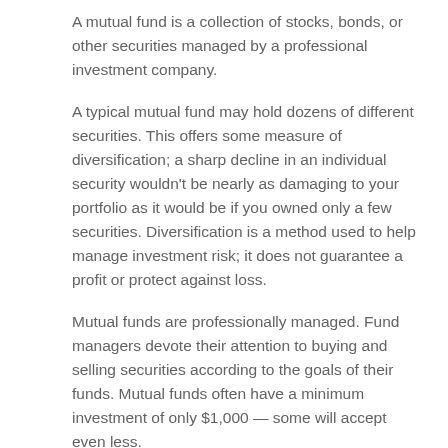A mutual fund is a collection of stocks, bonds, or other securities managed by a professional investment company.
A typical mutual fund may hold dozens of different securities. This offers some measure of diversification; a sharp decline in an individual security wouldn't be nearly as damaging to your portfolio as it would be if you owned only a few securities. Diversification is a method used to help manage investment risk; it does not guarantee a profit or protect against loss.
Mutual funds are professionally managed. Fund managers devote their attention to buying and selling securities according to the goals of their funds. Mutual funds often have a minimum investment of only $1,000 — some will accept even less.
The return and principal value of mutual funds